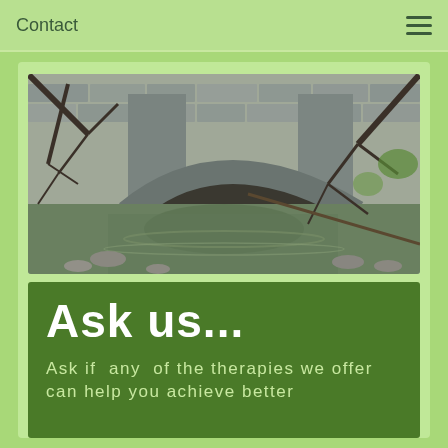Contact
[Figure (photo): A stone arch bridge over a shallow river or stream, surrounded by bare winter trees with branches. The water reflects the arch of the bridge. Rocky riverbank visible in the foreground.]
Ask us...
Ask if  any  of the therapies we offer can help you achieve better